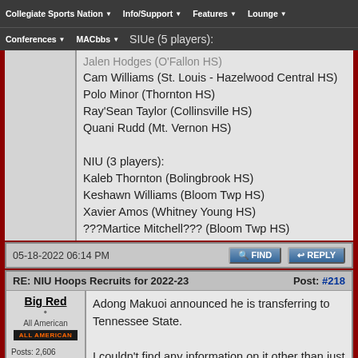Collegiate Sports Nation | Info/Support | Features | Lounge | Conferences | MACbbs
SIUe (5 players):
Jalen Hodges (O'Fallon HS)
Cam Williams (St. Louis - Hazelwood Central HS)
Polo Minor (Thornton HS)
Ray'Sean Taylor (Collinsville HS)
Quani Rudd (Mt. Vernon HS)

NIU (3 players):
Kaleb Thornton (Bolingbrook HS)
Keshawn Williams (Bloom Twp HS)
Xavier Amos (Whitney Young HS)
???Martice Mitchell??? (Bloom Twp HS)
05-18-2022 06:14 PM
RE: NIU Hoops Recruits for 2022-23  Post: #218
Adong Makuoi announced he is transferring to Tennessee State.

I couldn't find any information on it other than just the announcement and some generic information. Not that it matters.
Big Red
All American
Posts: 2,606
Joined: Sep 2008
Reputation: 23
I Root For: NIU